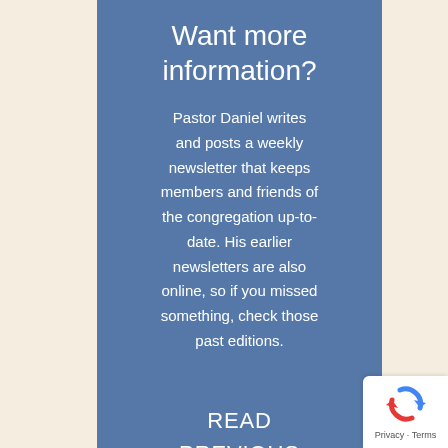Want more information?
Pastor Daniel writes and posts a weekly newsletter that keeps members and friends of the congregation up-to-date. His earlier newsletters are also online, so if you missed something, check those past editions.
READ PREVIOUS NEWSLETTERS